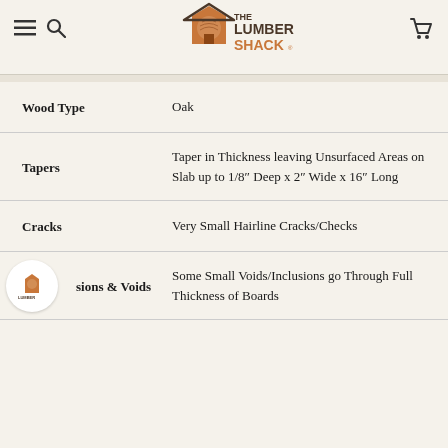The Lumber Shack
| Attribute | Value |
| --- | --- |
| Wood Type | Oak |
| Tapers | Taper in Thickness leaving Unsurfaced Areas on Slab up to 1/8" Deep x 2" Wide x 16" Long |
| Cracks | Very Small Hairline Cracks/Checks |
| Inclusions & Voids | Some Small Voids/Inclusions go Through Full Thickness of Boards |